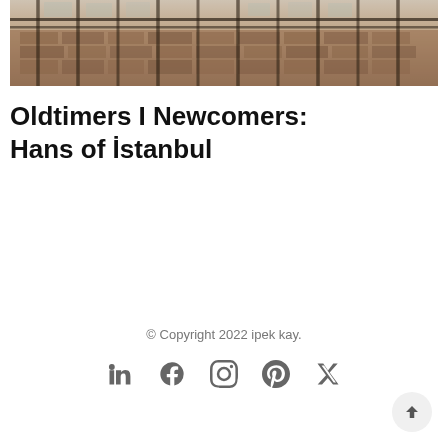[Figure (photo): Photograph of an old dilapidated building facade with metal fence railings, brick walls, and overgrown vegetation visible — urban decay scene likely in Istanbul.]
Oldtimers I Newcomers: Hans of İstanbul
© Copyright 2022 ipek kay.
[Figure (other): Social media icons row: LinkedIn, Facebook, Instagram, Pinterest, Twitter]